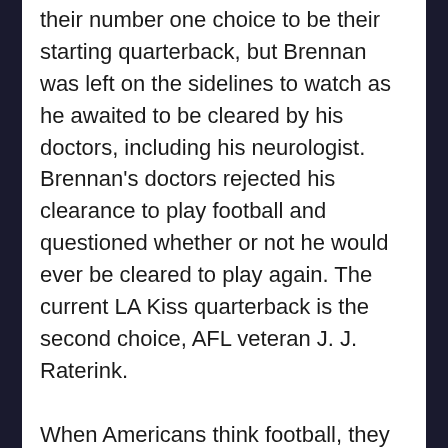their number one choice to be their starting quarterback, but Brennan was left on the sidelines to watch as he awaited to be cleared by his doctors, including his neurologist. Brennan's doctors rejected his clearance to play football and questioned whether or not he would ever be cleared to play again. The current LA Kiss quarterback is the second choice, AFL veteran J. J. Raterink.
When Americans think football, they undoubtedly think of the NFL. A significant number of the population may be clueless to the NFL's little brother, the AFL. This league consists